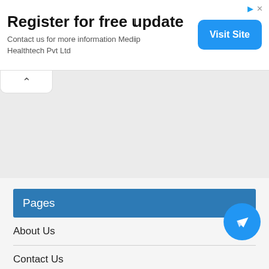Register for free update
Contact us for more information Medip Healthtech Pvt Ltd
Visit Site
[Figure (other): Collapse tab with upward chevron arrow]
Pages
About Us
Contact Us
Sitemap
[Figure (other): Telegram send button icon, circular blue button with paper plane icon]